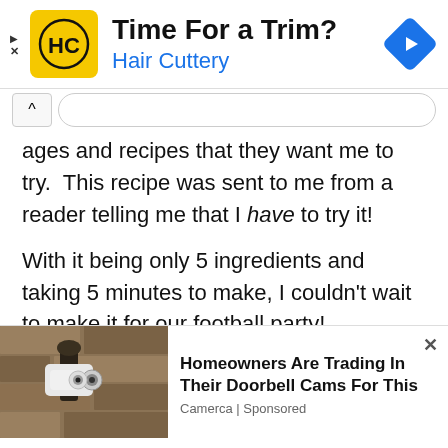[Figure (advertisement): Hair Cuttery ad banner with yellow HC logo, title 'Time For a Trim?', subtitle 'Hair Cuttery', and blue navigation diamond icon on the right.]
ages and recipes that they want me to try. This recipe was sent to me from a reader telling me that I have to try it!
With it being only 5 ingredients and taking 5 minutes to make, I couldn’t wait to make it for our football party!
This dip has mayonnaise, green onions, cheddar
[Figure (advertisement): Bottom ad with photo of outdoor security camera on stone wall. Text: 'Homeowners Are Trading In Their Doorbell Cams For This'. Source: Camerca | Sponsored]